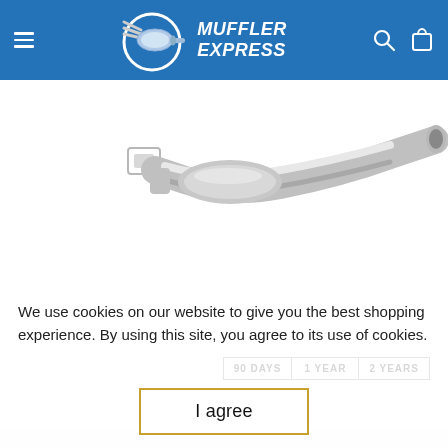[Figure (logo): Muffler Express logo with muffler illustration on blue header bar, including hamburger menu icon and search/cart icons]
[Figure (photo): Automotive exhaust pipe / catalytic converter part shown on white background]
We use cookies on our website to give you the best shopping experience. By using this site, you agree to its use of cookies.
[Figure (screenshot): Warranty options: 90 DAYS, 1 YEAR, 2 YEARS buttons (partially visible)]
I agree